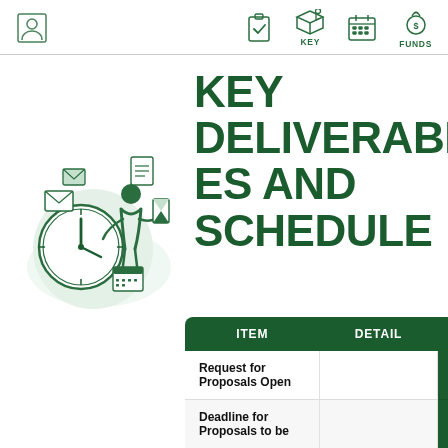Navigation bar with icons: person icon, checkmark/clipboard icon, KEY (box icon), calendar icon, FUNDS (money icon)
[Figure (illustration): Green-toned illustration of a person managing time and tasks, surrounded by a clock, calendar, hourglass, envelopes and documents, on a light green circular background]
KEY DELIVERABLES AND SCHEDULE
| ITEM | DETAIL |
| --- | --- |
| Request for Proposals Open |  |
| Deadline for Proposals to be |  |